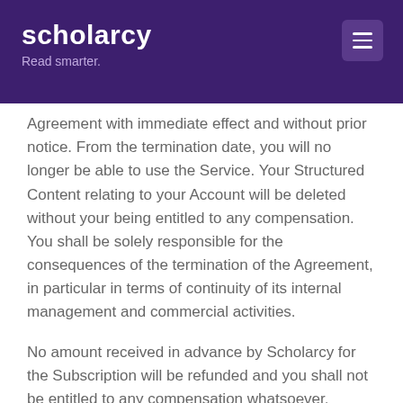scholarcy
Read smarter.
Agreement with immediate effect and without prior notice. From the termination date, you will no longer be able to use the Service. Your Structured Content relating to your Account will be deleted without your being entitled to any compensation. You shall be solely responsible for the consequences of the termination of the Agreement, in particular in terms of continuity of its internal management and commercial activities.
No amount received in advance by Scholarcy for the Subscription will be refunded and you shall not be entitled to any compensation whatsoever.
Suspension of the Service and termination of the...